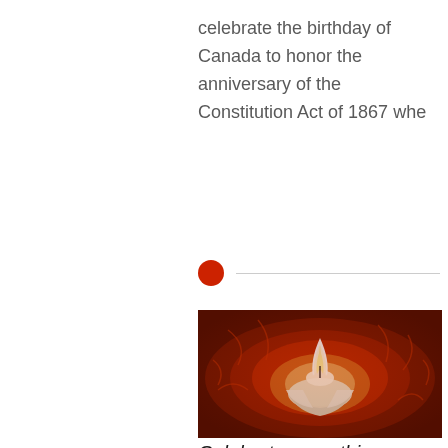celebrate the birthday of Canada to honor the anniversary of the Constitution Act of 1867 whe
[Figure (other): Red dot bullet point with horizontal divider line]
[Figure (photo): A candle with a glowing flame surrounded by orange-red dried flowers or petals, photographed close-up with warm tones.]
Celebrate something